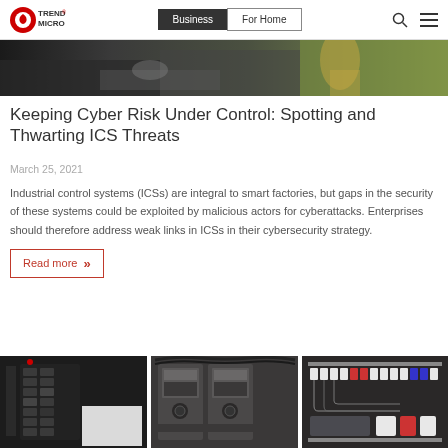Trend Micro | Business | For Home
[Figure (photo): Close-up photo of a person in a yellow high-visibility jacket working at an industrial control station]
Keeping Cyber Risk Under Control: Spotting and Thwarting ICS Threats
March 25, 2021
Industrial control systems (ICSs) are integral to smart factories, but gaps in the security of these systems could be exploited by malicious actors for cyberattacks. Enterprises should therefore address weak links in ICSs in their cybersecurity strategy.
Read more »
[Figure (photo): Three-panel photograph of industrial electrical control panels and circuit breakers]